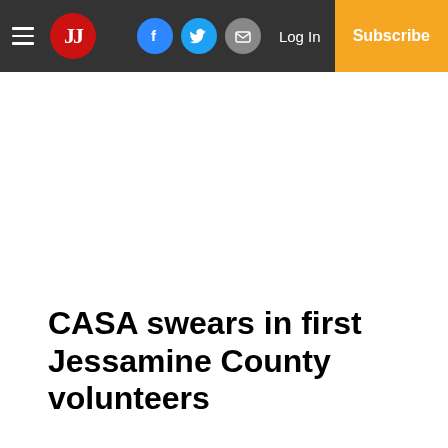JJ | Log In | Subscribe
CASA swears in first Jessamine County volunteers